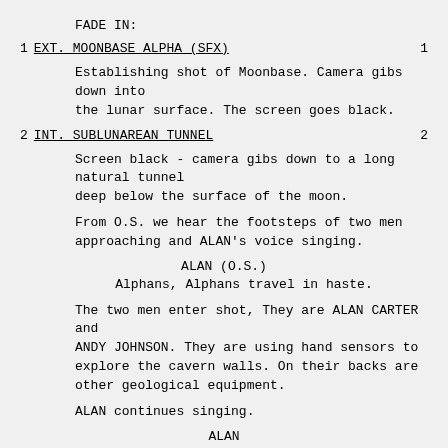FADE IN:
1 EXT. MOONBASE ALPHA (SFX) 1
Establishing shot of Moonbase. Camera gibs down into the lunar surface. The screen goes black.
2 INT. SUBLUNAREAN TUNNEL 2
Screen black - camera gibs down to a long natural tunnel deep below the surface of the moon.
From O.S. we hear the footsteps of two men approaching and ALAN's voice singing.
ALAN (O.S.)
Alphans, Alphans travel in haste.
The two men enter shot, They are ALAN CARTER and ANDY JOHNSON. They are using hand sensors to explore the cavern walls. On their backs are other geological equipment.
ALAN continues singing.
ALAN
Deep in the caverns of Alpha Moonbase
Through such a tunnel what mysteries unfold?
Could be we'll find us a pot of bright gold?